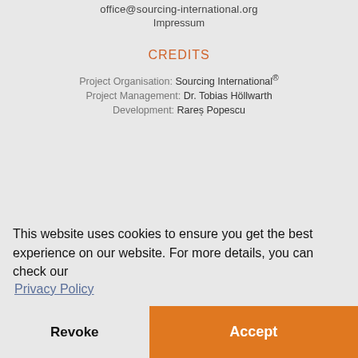office@sourcing-international.org
Impressum
CREDITS
Project Organisation: Sourcing International®
Project Management: Dr. Tobias Höllwarth
Development: Rareș Popescu
This website uses cookies to ensure you get the best experience on our website. For more details, you can check our Privacy Policy
Revoke
Accept